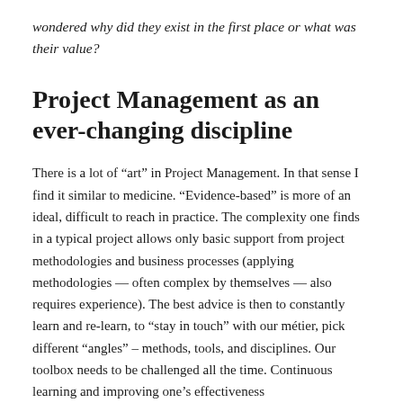wondered why did they exist in the first place or what was their value?
Project Management as an ever-changing discipline
There is a lot of “art” in Project Management. In that sense I find it similar to medicine. “Evidence-based” is more of an ideal, difficult to reach in practice. The complexity one finds in a typical project allows only basic support from project methodologies and business processes (applying methodologies — often complex by themselves — also requires experience). The best advice is then to constantly learn and re-learn, to “stay in touch” with our métier, pick different “angles” – methods, tools, and disciplines. Our toolbox needs to be challenged all the time. Continuous learning and improving one’s effectiveness